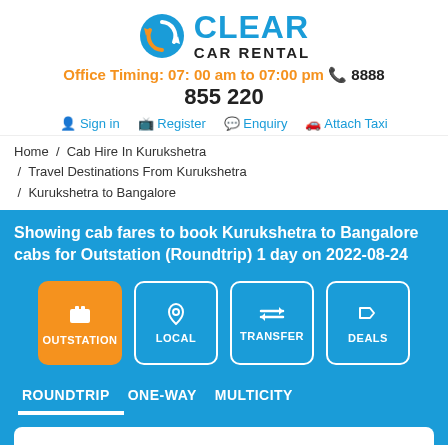[Figure (logo): Clear Car Rental logo with circular arrow icon in blue and orange, company name in blue and black]
Office Timing: 07: 00 am to 07:00 pm 📞 8888
855 220
Sign in   Register   Enquiry   Attach Taxi
Home / Cab Hire In Kurukshetra / Travel Destinations From Kurukshetra / Kurukshetra to Bangalore
Showing cab fares to book Kurukshetra to Bangalore cabs for Outstation (Roundtrip) 1 day on 2022-08-24
OUTSTATION  LOCAL  TRANSFER  DEALS
ROUNDTRIP  ONE-WAY  MULTICITY